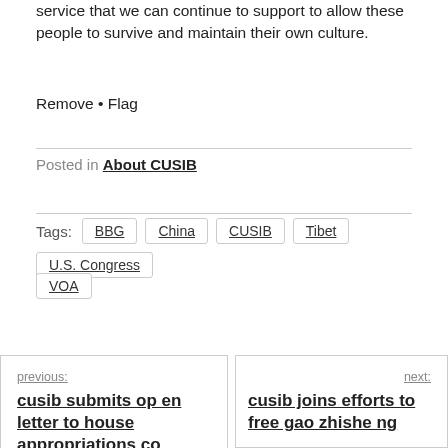service that we can continue to support to allow these people to survive and maintain their own culture.
Remove • Flag
Posted in About CUSIB
Tags: BBG China CUSIB Tibet U.S. Congress VOA
previous: cusib submits open letter to house appropriations co
next: cusib joins efforts to free gao zhisheng